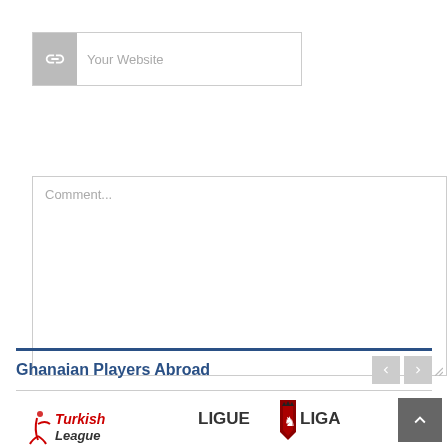[Figure (screenshot): Website URL input field with link icon on the left and placeholder text 'Your Website']
[Figure (screenshot): Large comment textarea with placeholder text 'Comment...' and resize handle at bottom right]
COMMENT
Ghanaian Players Abroad
[Figure (logo): Turkish League logo - stylized figure with crescent and text 'TurkishLeague']
[Figure (logo): Ligue Liga logo - shield with lion and text 'LIGUE LIGA']